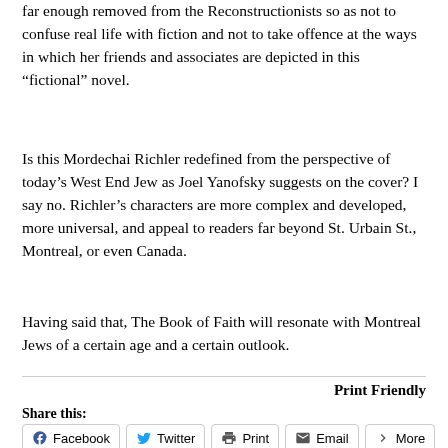far enough removed from the Reconstructionists so as not to confuse real life with fiction and not to take offence at the ways in which her friends and associates are depicted in this “fictional” novel.
Is this Mordechai Richler redefined from the perspective of today’s West End Jew as Joel Yanofsky suggests on the cover? I say no. Richler’s characters are more complex and developed, more universal, and appeal to readers far beyond St. Urbain St., Montreal, or even Canada.
Having said that, The Book of Faith will resonate with Montreal Jews of a certain age and a certain outlook.
Print Friendly
Share this:
Facebook   Twitter   Print   Email   More